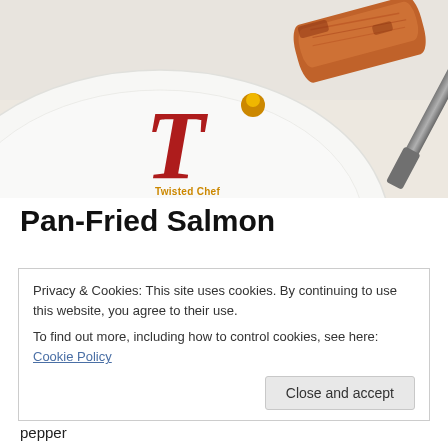[Figure (photo): Photo of pan-fried salmon fillet on a white plate with a knife, on a patterned white tablecloth. Twisted Chef logo overlaid on the image.]
Pan-Fried Salmon
Privacy & Cookies: This site uses cookies. By continuing to use this website, you agree to their use.
To find out more, including how to control cookies, see here: Cookie Policy
pepper